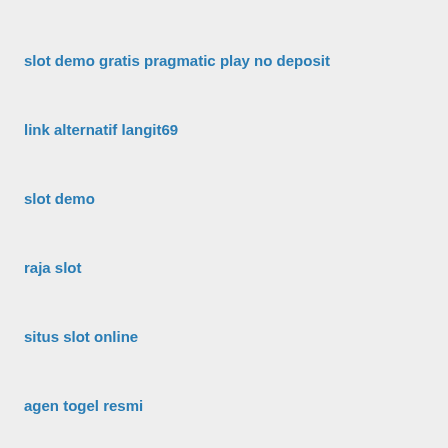slot demo gratis pragmatic play no deposit
link alternatif langit69
slot demo
raja slot
situs slot online
agen togel resmi
pasaran togel cambodia